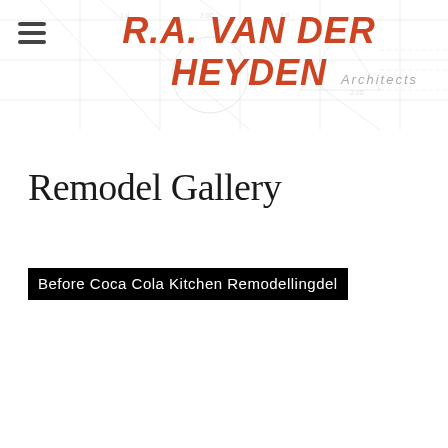R.A. Van Der Heyden Architects
Remodel Gallery
Before Coca Cola Kitchen Remodellingdel